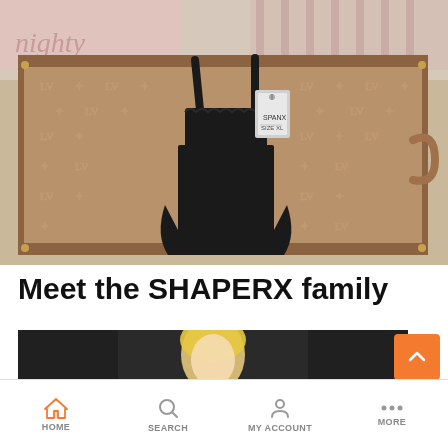[Figure (photo): A black shapewear bodysuit with thin straps and a price tag, laid flat on a Louis Vuitton monogram brown luggage trunk with tan leather trim. Behind the trunk is a patterned fabric surface with 'naughty' text visible on a pillow.]
Meet the SHAPERX family
[Figure (photo): Partial view of a person with blonde hair against a dark background, bottom portion of a family/community photo.]